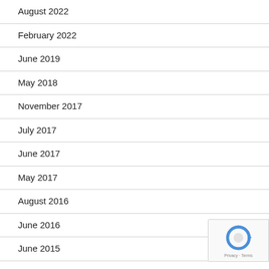August 2022
February 2022
June 2019
May 2018
November 2017
July 2017
June 2017
May 2017
August 2016
June 2016
June 2015